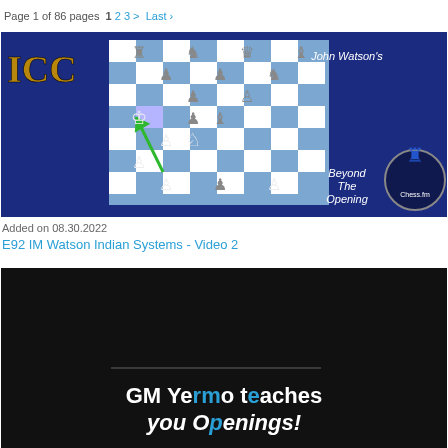Page 1 of 86 pages  1 2 3 >  Last ›
[Figure (screenshot): ICC chess video thumbnail showing a chessboard with pieces, ICC logo, 'John Watson's Beyond The Opening' text, and Chess.fm logo]
Added on 08.30.2022
E92 IM Watson Indian Systems - Video 2
[Figure (screenshot): Dark themed chess video thumbnail with text 'GM Yermo teaches you Openings!']